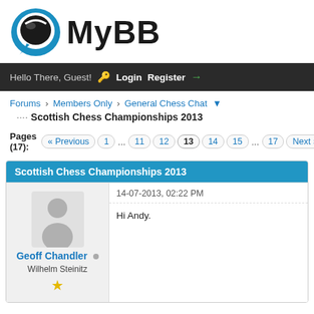[Figure (logo): MyBB logo with blue speech bubble icon and black bold text 'MyBB']
Hello There, Guest! Login Register
Forums › Members Only › General Chess Chat
Scottish Chess Championships 2013
Pages (17): « Previous  1  ...  11  12  13  14  15  ...  17  Next »
Scottish Chess Championships 2013
Geoff Chandler
Wilhelm Steinitz
★
14-07-2013, 02:22 PM
Hi Andy.